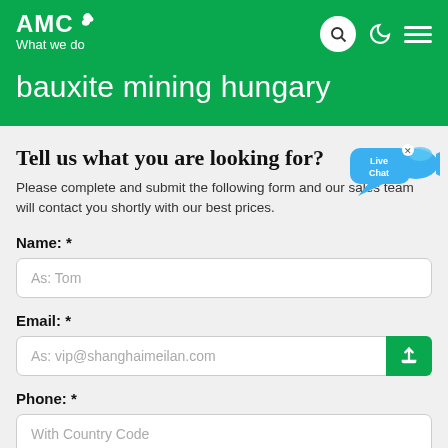AMC What we do
bauxite mining hungary
Tell us what you are looking for?
Please complete and submit the following form and our sales team will contact you shortly with our best prices.
[Figure (illustration): Live Chat bubble widget with fish icon and close button]
Name: *
As: Tom
Email: *
As: vip@shanghaimeilan.com
Phone: *
With Country Code